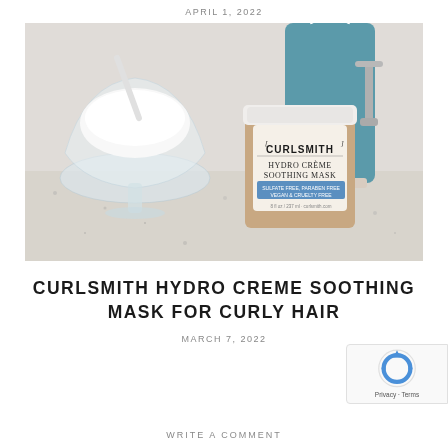APRIL 1, 2022
[Figure (photo): A jar of Curlsmith Hydro Creme Soothing Mask on a granite countertop, next to a glass footed bowl with white creamy product, and a teal/blue bottle in the background, with a faucet visible]
CURLSMITH HYDRO CREME SOOTHING MASK FOR CURLY HAIR
MARCH 7, 2022
WRITE A COMMENT